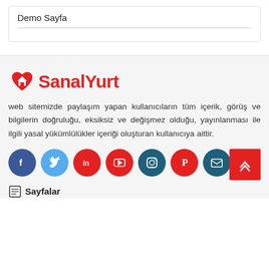Demo Sayfa
[Figure (logo): SanalYurt logo with heart/house icon in red and brand name in red bold text]
web sitemizde paylaşım yapan kullanıcıların tüm içerik, görüş ve bilgilerin doğruluğu, eksiksiz ve değişmez olduğu, yayınlanması ile ilgili yasal yükümlülükler içeriği oluşturan kullanıcıya aittir.
[Figure (infographic): Social media icon buttons: Facebook (dark blue), Twitter (light blue), LinkedIn (red), YouTube (red), Instagram (dark teal), Pinterest (red), Email (dark teal). Plus a red scroll-to-top button with double up arrows.]
Sayfalar